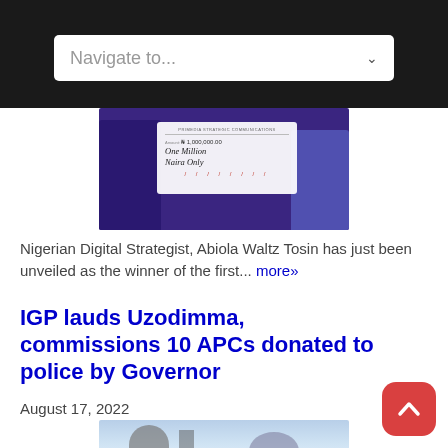Navigate to...
[Figure (photo): People holding a large ceremonial cheque reading 'One Million Naira Only' at what appears to be an award ceremony]
Nigerian Digital Strategist, Abiola Waltz Tosin has just been unveiled as the winner of the first... more»
IGP lauds Uzodimma, commissions 10 APCs donated to police by Governor
August 17, 2022
[Figure (photo): Outdoor photo related to the IGP and Uzodimma story, showing vehicles or event scene]